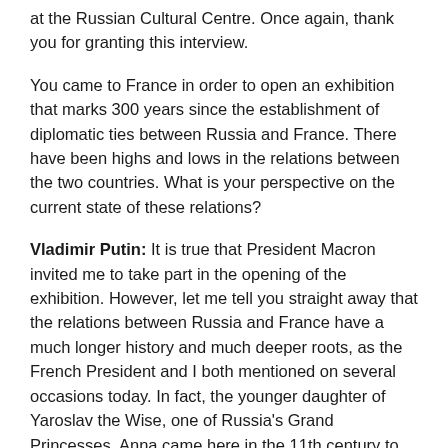at the Russian Cultural Centre. Once again, thank you for granting this interview.
You came to France in order to open an exhibition that marks 300 years since the establishment of diplomatic ties between Russia and France. There have been highs and lows in the relations between the two countries. What is your perspective on the current state of these relations?
Vladimir Putin: It is true that President Macron invited me to take part in the opening of the exhibition. However, let me tell you straight away that the relations between Russia and France have a much longer history and much deeper roots, as the French President and I both mentioned on several occasions today. In fact, the younger daughter of Yaroslav the Wise, one of Russia's Grand Princesses, Anna came here in the 11th century to marry King Henry I of France.
She was actually called Anna of Rus, Queen of France. Her son